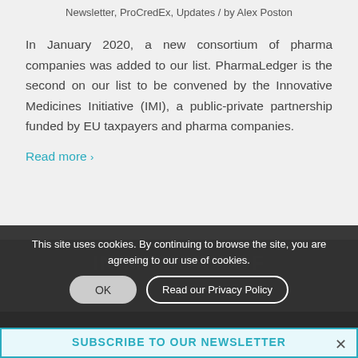Newsletter, ProCredEx, Updates / by Alex Poston
In January 2020, a new consortium of pharma companies was added to our list. PharmaLedger is the second on our list to be convened by the Innovative Medicines Initiative (IMI), a public-private partnership funded by EU taxpayers and pharma companies.
Read more ›
IN MEMORY OF
CLAY    ANSEN
This site uses cookies. By continuing to browse the site, you are agreeing to our use of cookies.
OK    Read our Privacy Policy
SUBSCRIBE TO OUR NEWSLETTER